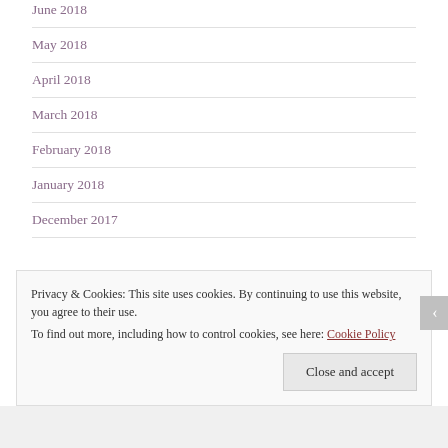June 2018
May 2018
April 2018
March 2018
February 2018
January 2018
December 2017
Privacy & Cookies: This site uses cookies. By continuing to use this website, you agree to their use.
To find out more, including how to control cookies, see here: Cookie Policy